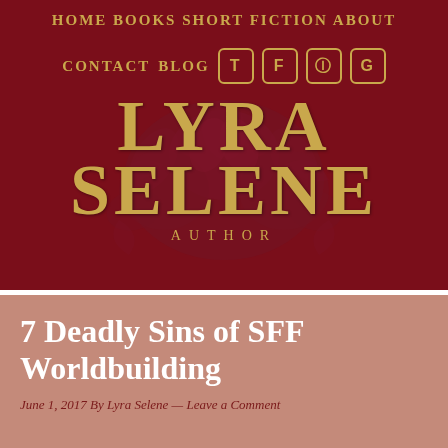HOME   BOOKS   SHORT FICTION   ABOUT   CONTACT   BLOG
[Figure (logo): Lyra Selene Author logo — large gold serif text 'LYRA' and 'SELENE' with 'AUTHOR' underneath, overlaid on dark rose floral decorative background, on dark crimson field]
7 Deadly Sins of SFF Worldbuilding
June 1, 2017 By Lyra Selene — Leave a Comment